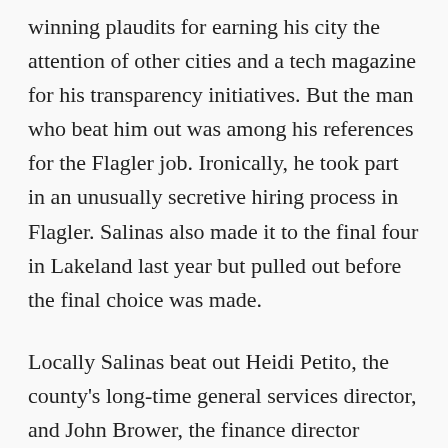winning plaudits for earning his city the attention of other cities and a tech magazine for his transparency initiatives. But the man who beat him out was among his references for the Flagler job. Ironically, he took part in an unusually secretive hiring process in Flagler. Salinas also made it to the final four in Lakeland last year but pulled out before the final choice was made.
Locally Salinas beat out Heidi Petito, the county's long-time general services director, and John Brower, the finance director completing his first year in the county. The appointment was first reported by the Observer Tuesday evening after Cameron called the